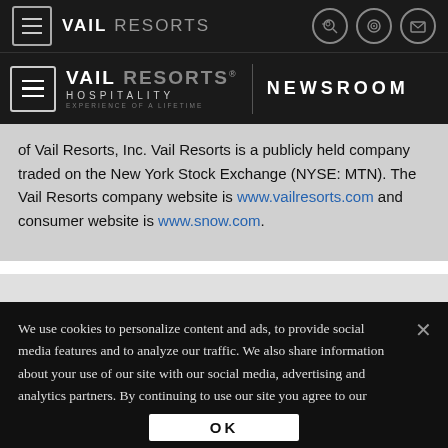VAIL RESORTS — Top navigation bar with menu icon and utility icons
[Figure (logo): Vail Resorts Hospitality — NEWSROOM secondary navigation bar with hamburger menu]
of Vail Resorts, Inc. Vail Resorts is a publicly held company traded on the New York Stock Exchange (NYSE: MTN). The Vail Resorts company website is www.vailresorts.com and consumer website is www.snow.com.
We use cookies to personalize content and ads, to provide social media features and to analyze our traffic. We also share information about your use of our site with our social media, advertising and analytics partners. By continuing to use our site you agree to our Privacy Policy and use of cookies. Privacy Policy